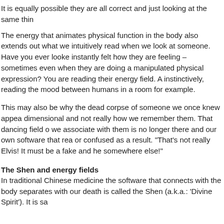It is equally possible they are all correct and just looking at the same thin
The energy that animates physical function in the body also extends out what we intuitively read when we look at someone. Have you ever looke instantly felt how they are feeling – sometimes even when they are doing a manipulated physical expression? You are reading their energy field. A instinctively, reading the mood between humans in a room for example.
This may also be why the dead corpse of someone we once knew appea dimensional and not really how we remember them. That dancing field o we associate with them is no longer there and our own software that rea or confused as a result. "That's not really Elvis! It must be a fake and he somewhere else!"
The Shen and energy fields
In traditional Chinese medicine the software that connects with the body separates with our death is called the Shen (a.k.a.: 'Divine Spirit'). It is sa